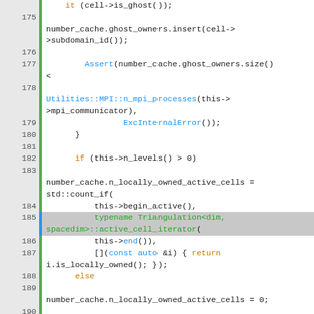[Figure (screenshot): Source code listing showing C++ code for a triangulation number cache computation, lines 174-195, with syntax highlighting in green, blue, orange, and red colors on a white/gray background with line numbers.]